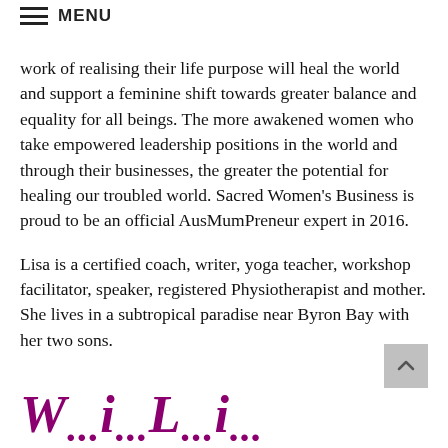≡ MENU
work of realising their life purpose will heal the world and support a feminine shift towards greater balance and equality for all beings. The more awakened women who take empowered leadership positions in the world and through their businesses, the greater the potential for healing our troubled world. Sacred Women's Business is proud to be an official AusMumPreneur expert in 2016.
Lisa is a certified coach, writer, yoga teacher, workshop facilitator, speaker, registered Physiotherapist and mother. She lives in a subtropical paradise near Byron Bay with her two sons.
W...i...L...i...